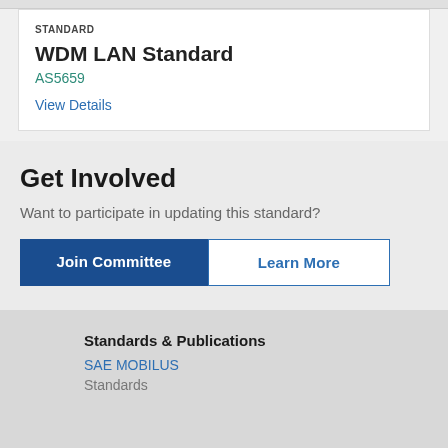STANDARD
WDM LAN Standard
AS5659
View Details
Get Involved
Want to participate in updating this standard?
Join Committee
Learn More
Standards & Publications
SAE MOBILUS
Standards